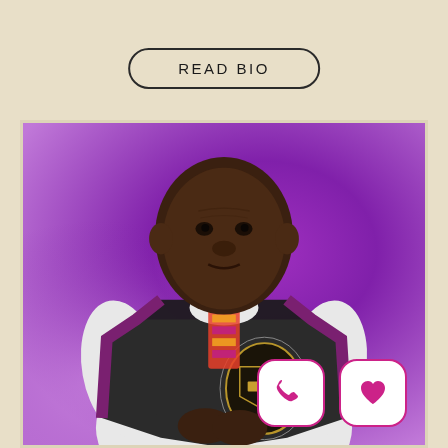READ BIO
[Figure (photo): Elderly Black man wearing bishop vestments — white robe, black chimere with purple trim, and an AME bishop's crest medallion — posed in front of a purple background.]